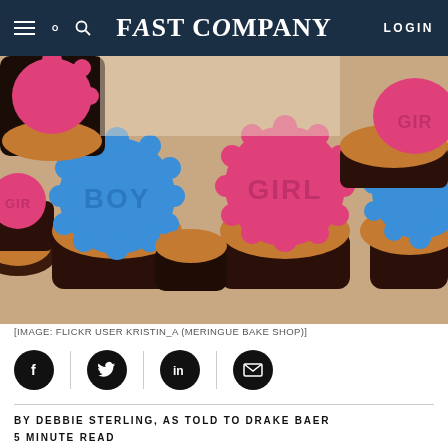FAST COMPANY  LOGIN
[Figure (photo): Chocolate cupcakes with blue fondant toppers reading BOY and pink fondant toppers reading GIRL, decorated with scalloped edges]
[IMAGE: FLICKR USER KRISTIN_A (MERINGUE BAKE SHOP)]
[Figure (other): Social sharing icon buttons: Facebook, Twitter, LinkedIn, Email]
BY DEBBIE STERLING, AS TOLD TO DRAKE BAER
5 MINUTE READ
The conventional wisdom is that gender roles are baked into the toy aisle: the blue section was boy geniuses and